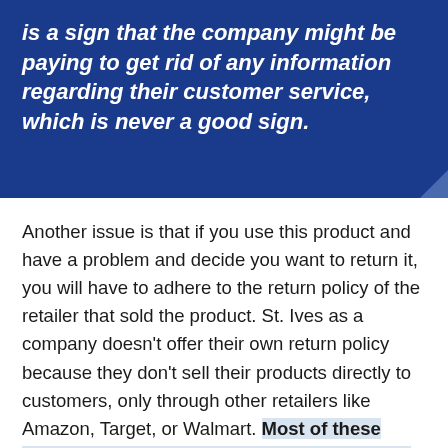is a sign that the company might be paying to get rid of any information regarding their customer service, which is never a good sign.
Another issue is that if you use this product and have a problem and decide you want to return it, you will have to adhere to the return policy of the retailer that sold the product. St. Ives as a company doesn't offer their own return policy because they don't sell their products directly to customers, only through other retailers like Amazon, Target, or Walmart. Most of these retailers have decent return policies, but the fact that St. Ives doesn't back up their skin care product with their own policy shows a lack of